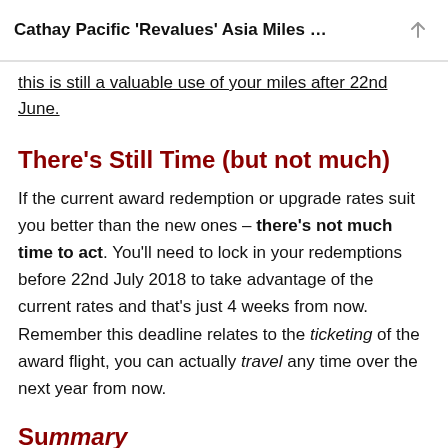Cathay Pacific 'Revalues' Asia Miles …
this is still a valuable use of your miles after 22nd June.
There's Still Time (but not much)
If the current award redemption or upgrade rates suit you better than the new ones – there's not much time to act. You'll need to lock in your redemptions before 22nd July 2018 to take advantage of the current rates and that's just 4 weeks from now. Remember this deadline relates to the ticketing of the award flight, you can actually travel any time over the next year from now.
Summary